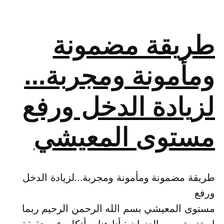طريقة مضمونة ومأمونة ومجربة... لزيادة الدخل ورفع مستوى المعيشي
طريقة مضمونة ومأمونة ومجربة...لزيادة الدخل ورفع مستوى المعيشي بسم الله الرحمن الرحيم ربما استغربتم من العنوان : أنا هنا سأتكلم عن حقيقة مجربة